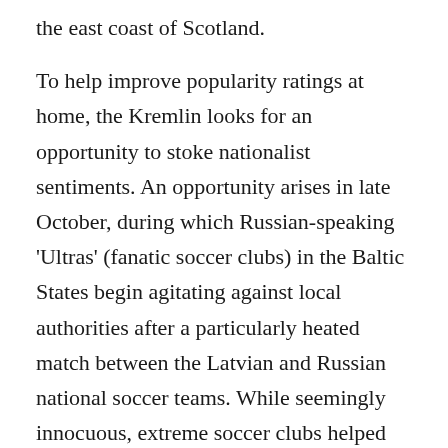the east coast of Scotland.
To help improve popularity ratings at home, the Kremlin looks for an opportunity to stoke nationalist sentiments. An opportunity arises in late October, during which Russian-speaking 'Ultras' (fanatic soccer clubs) in the Baltic States begin agitating against local authorities after a particularly heated match between the Latvian and Russian national soccer teams. While seemingly innocuous, extreme soccer clubs helped fuel the uprising in Egypt during the Arab Spring, while several Russian soccer fans were arrested in France during Euro 2016. After several days of protests in the Baltic states,